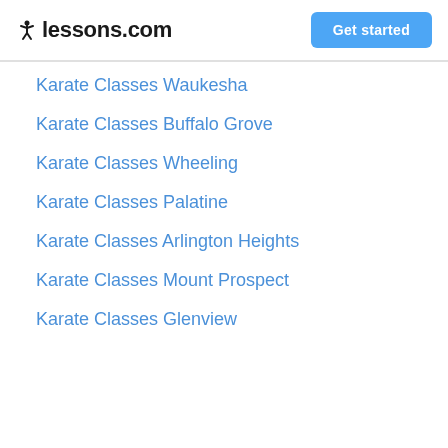lessons.com  Get started
Karate Classes Waukesha
Karate Classes Buffalo Grove
Karate Classes Wheeling
Karate Classes Palatine
Karate Classes Arlington Heights
Karate Classes Mount Prospect
Karate Classes Glenview